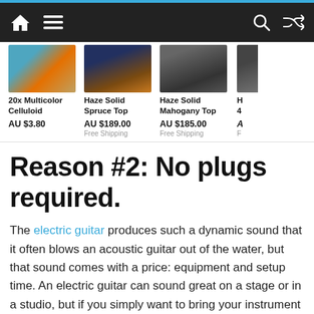Navigation bar with home, menu, search, and shuffle icons
[Figure (screenshot): Product thumbnail: 20x Multicolor Celluloid guitar picks]
20x Multicolor Celluloid
AU $3.80
[Figure (screenshot): Product thumbnail: Haze Solid Spruce Top guitar]
Haze Solid Spruce Top
AU $189.00
Free Shipping
[Figure (screenshot): Product thumbnail: Haze Solid Mahogany Top guitar]
Haze Solid Mahogany Top
AU $185.00
Free Shipping
Reason #2: No plugs required.
The electric guitar produces such a dynamic sound that it often blows an acoustic guitar out of the water, but that sound comes with a price: equipment and setup time. An electric guitar can sound great on a stage or in a studio, but if you simply want to bring your instrument with you and bring it out at any given time, then you're going to want to stick with an